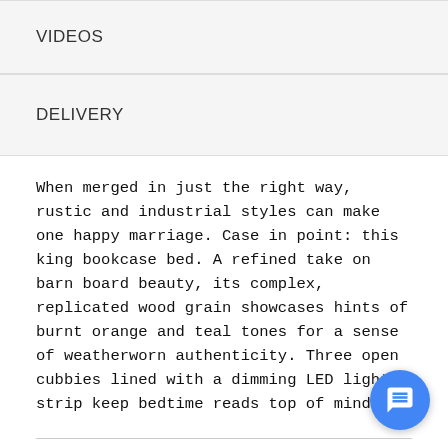VIDEOS
DELIVERY
When merged in just the right way, rustic and industrial styles can make one happy marriage. Case in point: this king bookcase bed. A refined take on barn board beauty, its complex, replicated wood grain showcases hints of burnt orange and teal tones for a sense of weatherworn authenticity. Three open cubbies lined with a dimming LED light strip keep bedtime reads top of mind.
FEATURES
Includes bookcase headboard, footboard and rails